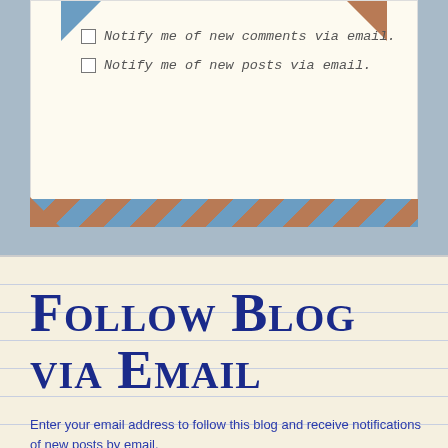Notify me of new comments via email.
Notify me of new posts via email.
Follow Blog via Email
Enter your email address to follow this blog and receive notifications of new posts by email.
Enter your email address